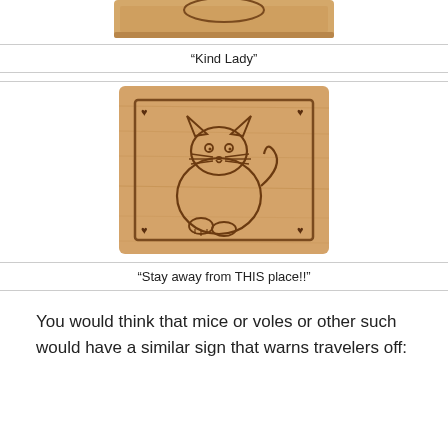[Figure (photo): Wooden plaque with a burned-in image of a cat sitting, surrounded by a decorative border with heart motifs at each corner. The cat appears grumpy or stern.]
“Kind Lady”
[Figure (photo): Wooden plaque with a burned-in image of a grumpy-looking fat cat with whiskers, surrounded by a decorative border with heart motifs at each corner.]
“Stay away from THIS place!!”
You would think that mice or voles or other such would have a similar sign that warns travelers off: